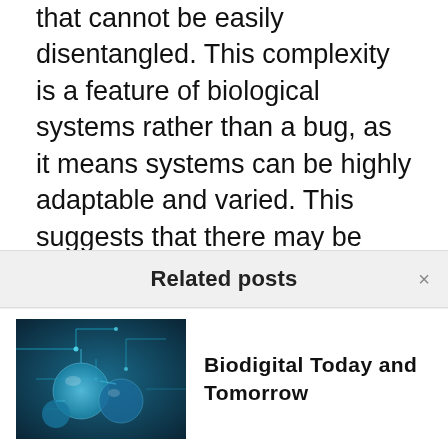that cannot be easily disentangled. This complexity is a feature of biological systems rather than a bug, as it means systems can be highly adaptable and varied. This suggests that there may be many pathways to obtaining desired outputs and consequently the potential for high degrees of customization.
Production approaches and devices could leverage this complexity to produce multiple customized biological outputs from single systems. For example, economies of scope allow
Related posts
[Figure (photo): Blue-toned digital/biological illustration showing circuit patterns and molecular structures]
Biodigital Today and Tomorrow